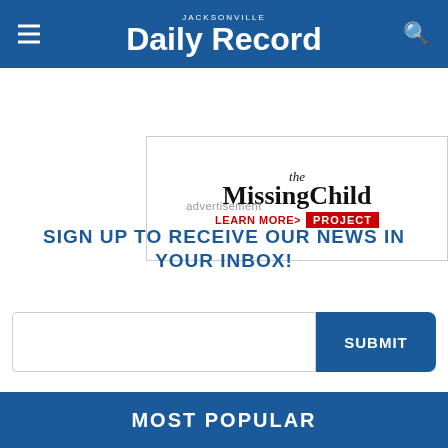JACKSONVILLE Daily Record
[Figure (illustration): The Missing Child Project advertisement banner. Text reads 'the MissingChild LEARN MORE> PROJECT']
advertisement
SIGN UP TO RECEIVE OUR NEWS IN YOUR INBOX!
SUBMIT
MOST POPULAR